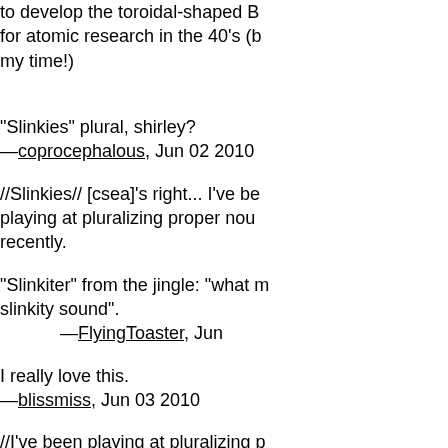to develop the toroidal-shaped B... for atomic research in the 40's (b... my time!)
—csea, Jun
"Slinkies" plural, shirley?
—coprocephalous, Jun 02 2010
//Slinkies// [csea]'s right... I've be... playing at pluralizing proper nou... recently.
"Slinkiter" from the jingle: "what m... slinkity sound".
—FlyingToaster, Jun
I really love this.
—blissmiss, Jun 03 2010
//I've been playing at pluralizing p... nouns recently//
Bu...bu..but you can't even spell "pluralising" correctly.
—AbsintheWithoutLeave, Jun
Untangling the quantum-slinkys o... challenging.